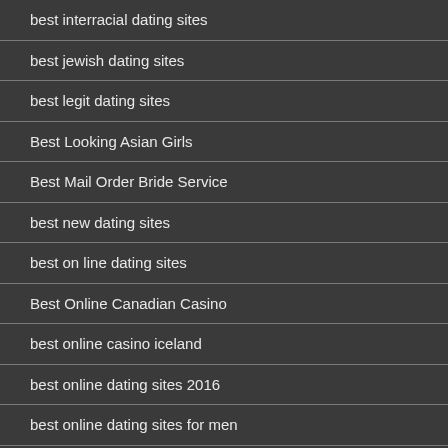best interracial dating sites
best jewish dating sites
best legit dating sites
Best Looking Asian Girls
Best Mail Order Bride Service
best new dating sites
best on line dating sites
Best Online Canadian Casino
best online casino iceland
best online dating sites 2016
best online dating sites for men